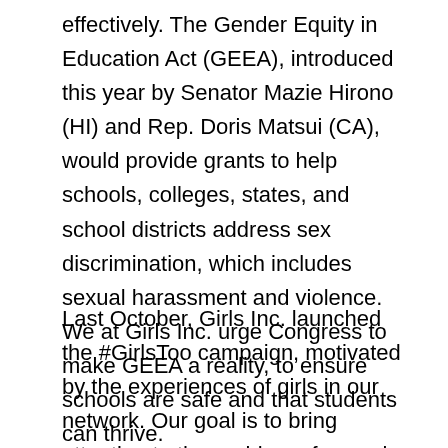effectively. The Gender Equity in Education Act (GEEA), introduced this year by Senator Mazie Hirono (HI) and Rep. Doris Matsui (CA), would provide grants to help schools, colleges, states, and school districts address sex discrimination, which includes sexual harassment and violence. We at Girls Inc. urge Congress to make GEEA a reality, to ensure schools are safe and that students can thrive.
Last October, Girls Inc. launched the #GirlsToo campaign, motivated by the experiences of girls in our network. Our goal is to bring attention to the problem of sexual harassment and violence that girls face, with actions aimed at creating